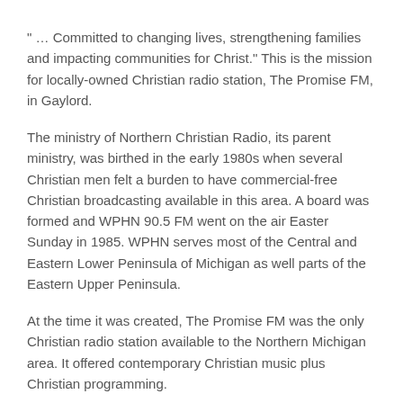“ … Committed to changing lives, strengthening families and impacting communities for Christ.” This is the mission for locally-owned Christian radio station, The Promise FM, in Gaylord.
The ministry of Northern Christian Radio, its parent ministry, was birthed in the early 1980s when several Christian men felt a burden to have commercial-free Christian broadcasting available in this area. A board was formed and WPHN 90.5 FM went on the air Easter Sunday in 1985. WPHN serves most of the Central and Eastern Lower Peninsula of Michigan as well parts of the Eastern Upper Peninsula.
At the time it was created, The Promise FM was the only Christian radio station available to the Northern Michigan area. It offered contemporary Christian music plus Christian programming.